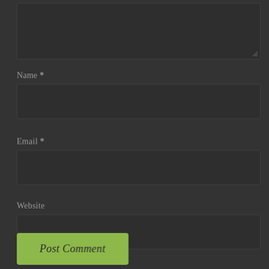[Figure (screenshot): Dark-themed web comment form showing a textarea at the top (partially visible with resize handle), followed by Name, Email, and Website input fields, and a green Post Comment button at the bottom.]
Name *
Email *
Website
Post Comment